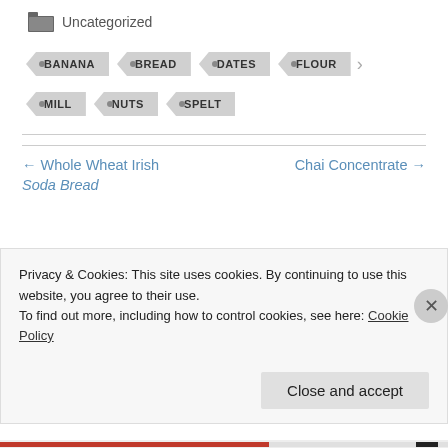Uncategorized
BANANA
BREAD
DATES
FLOUR
MILL
NUTS
SPELT
← Whole Wheat Irish Soda Bread
Chai Concentrate →
Privacy & Cookies: This site uses cookies. By continuing to use this website, you agree to their use.
To find out more, including how to control cookies, see here: Cookie Policy
Close and accept